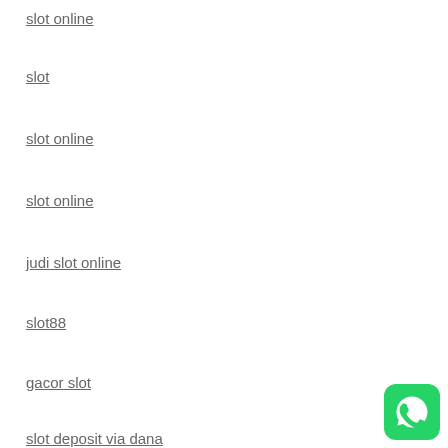slot online
slot
slot online
slot online
judi slot online
slot88
gacor slot
slot deposit via dana
[Figure (logo): WhatsApp icon - green rounded square with white phone/chat bubble logo]